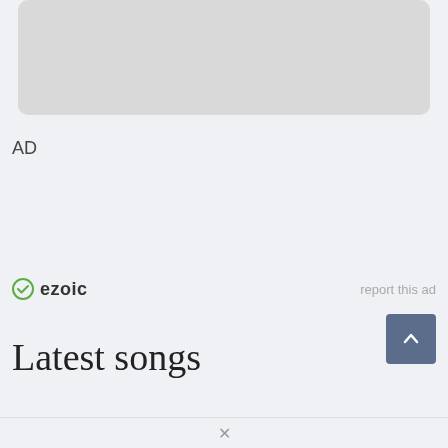[Figure (other): Gray rounded rectangle placeholder image at top of page]
AD
[Figure (logo): Ezoic logo with green circular checkmark icon and bold 'ezoic' text]
report this ad
[Figure (other): Blue-gray scroll-to-top button with upward chevron arrow]
Latest songs